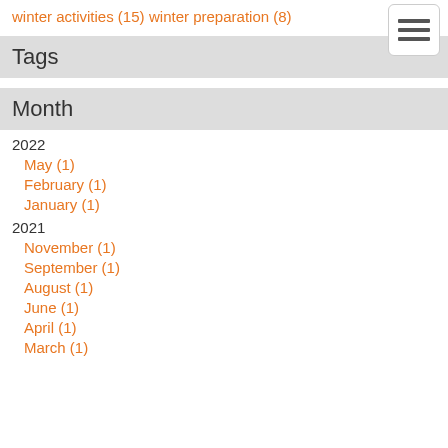winter activities (15)
winter preparation (8)
Tags
Month
2022
May (1)
February (1)
January (1)
2021
November (1)
September (1)
August (1)
June (1)
April (1)
March (1)